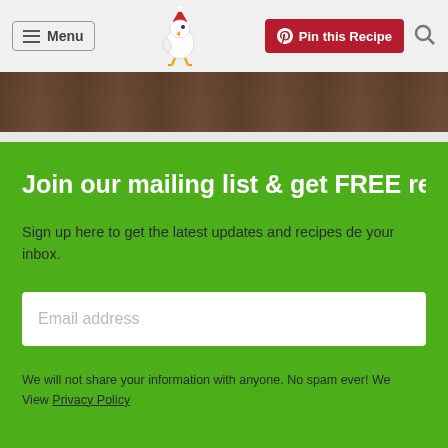≡ Menu | [chicken logo] | Pin this Recipe | 🔍
[Figure (screenshot): Background photo strip showing food preparation scene]
Join our mailing list & get FREE re
Sign up here to get the latest updates and recipes de your inbox.
Email address
We will not share your information with anyone. No spam ever! We View Privacy Policy
[Figure (photo): Bottom photo strip showing kitchen/food preparation scenes]